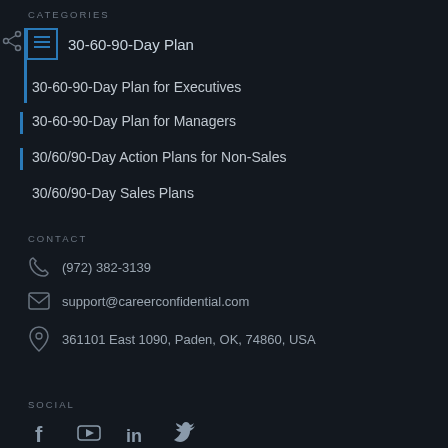CATEGORIES
30-60-90-Day Plan
30-60-90-Day Plan for Executives
30-60-90-Day Plan for Managers
30/60/90-Day Action Plans for Non-Sales
30/60/90-Day Sales Plans
CONTACT
(972) 382-3139
support@careerconfidential.com
361101 East 1090, Paden, OK, 74860, USA
SOCIAL